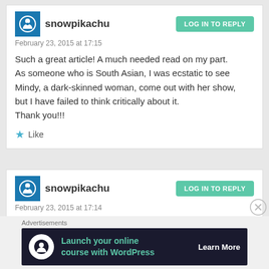snowpikachu
February 23, 2015 at 17:15
Such a great article! A much needed read on my part. As someone who is South Asian, I was ecstatic to see Mindy, a dark-skinned woman, come out with her show, but I have failed to think critically about it. Thank you!!!
Like
snowpikachu
February 23, 2015 at 17:14
Advertisements
Launch your online course with WordPress Learn More